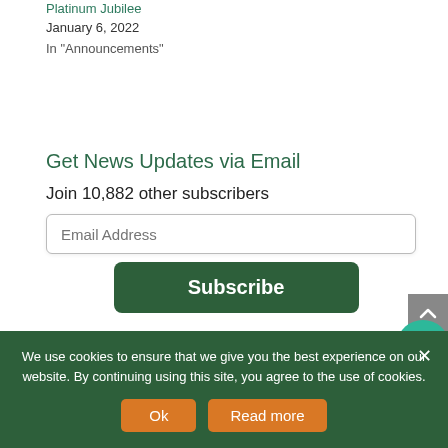Platinum Jubilee
January 6, 2022
In "Announcements"
Get News Updates via Email
Join 10,882 other subscribers
Email Address
Subscribe
We use cookies to ensure that we give you the best experience on our website. By continuing using this site, you agree to the use of cookies.
Ok
Read more